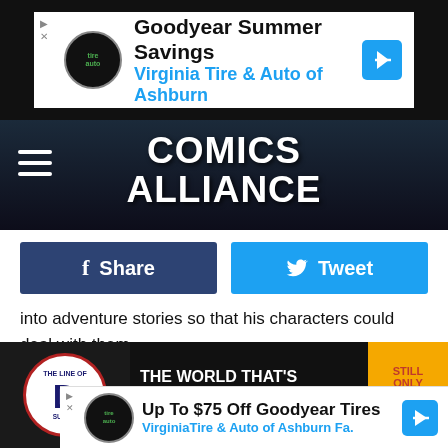[Figure (screenshot): Goodyear Summer Savings advertisement banner - Virginia Tire & Auto of Ashburn]
[Figure (logo): Comics Alliance website header with hamburger menu and site logo on dark background]
[Figure (screenshot): Facebook Share button (dark blue) and Twitter Tweet button (light blue) social sharing bar]
into adventure stories so that his characters could deal with them.
And usually, that "dealing with" involved just beating everyone involved to a pulp. Case in point: OMAC #2, a book that doesn't even wait to get past the cover before it starts being awesome. Check this thing out:
[Figure (photo): Comic book cover showing 'The World That's Coming!! Dangerous and Exciting!' with DC Comics badge and price 20 cents, partially overlapped by Goodyear ad]
[Figure (screenshot): Up To $75 Off Goodyear Tires - VirginiaTire & Auto of Ashburn Fa. advertisement overlay]